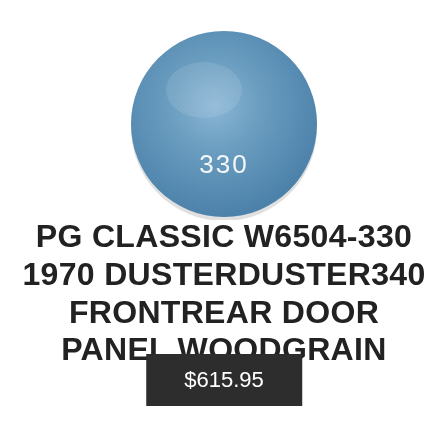[Figure (photo): A circular swatch of blue textured fabric/vinyl material with the number 330 displayed in white text at the bottom center of the circle.]
PG CLASSIC W6504-330 1970 DUSTERDUSTER340 FRONTREAR DOOR PANEL WOODGRAIN BLUE
$615.95